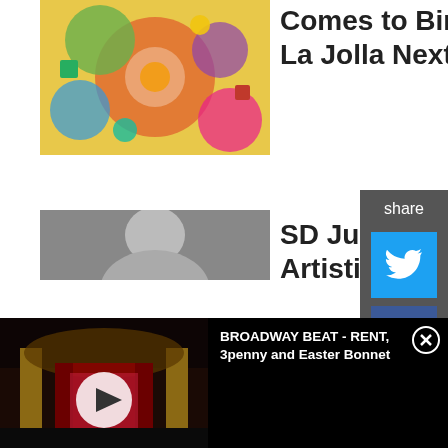[Figure (photo): Colorful artwork/painting thumbnail]
Comes to Biree Studio La Jolla Next Month
[Figure (photo): Headshot of a person, grayscale]
SD Junior Theatre Artistic
MORE HOT STORIES FOR YOU
[Figure (screenshot): Share sidebar with Twitter and Facebook icons]
[Figure (photo): Broadway Beat video thumbnail showing theater stage with red curtain and play button overlay]
BROADWAY BEAT - RENT, 3penny and Easter Bonnet